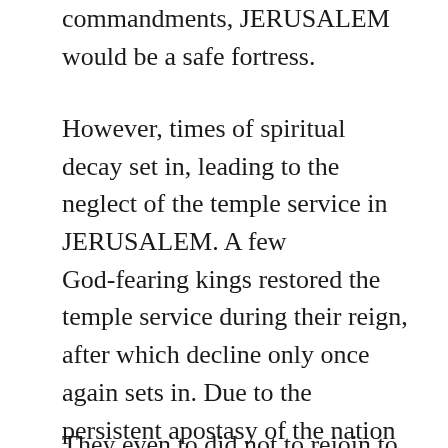commandments, JERUSALEM would be a safe fortress.
However, times of spiritual decay set in, leading to the neglect of the temple service in JERUSALEM. A few God-fearing kings restored the temple service during their reign, after which decline only once again sets in. Due to the persistent apostasy of the nation and their leaders, the glory of God eventually departed from the temple and He surrendered them to their enemies. During the Babylonian siege in the 6th century BC, the city and the temple were plundered and destroyed and many of the Jews taken captive to Babylonia.
They even to did not to rejoin to God but to and